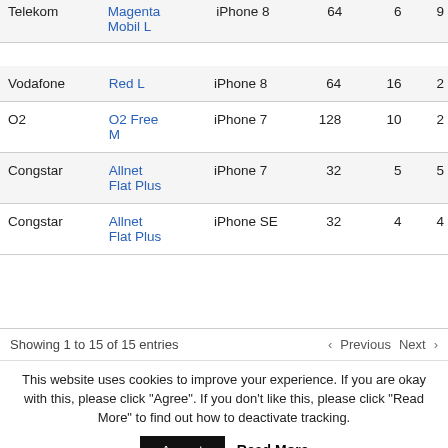| Provider | Tariff | Phone | GB | Col5 | Col6 |
| --- | --- | --- | --- | --- | --- |
| Telekom | Magenta Mobil L | iPhone 8 | 64 | 6 | 9 |
| Vodafone | Red L | iPhone 8 | 64 | 16 | 2 |
| O2 | O2 Free M | iPhone 7 | 128 | 10 | 2 |
| Congstar | Allnet Flat Plus | iPhone 7 | 32 | 5 | 5 |
| Congstar | Allnet Flat Plus | iPhone SE | 32 | 4 | 4 |
Showing 1 to 15 of 15 entries
Previous  Next
This website uses cookies to improve your experience. If you are okay with this, please click "Agree". If you don't like this, please click "Read More" to find out how to deactivate tracking.